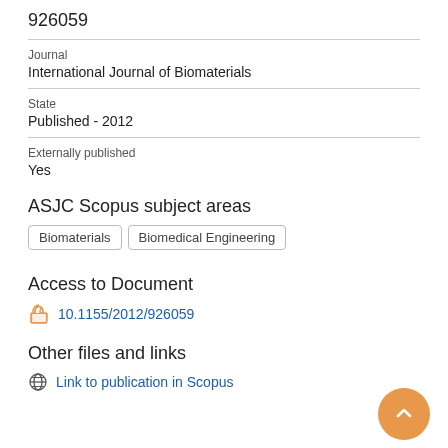926059
Journal
International Journal of Biomaterials
State
Published - 2012
Externally published
Yes
ASJC Scopus subject areas
Biomaterials
Biomedical Engineering
Access to Document
10.1155/2012/926059
Other files and links
Link to publication in Scopus